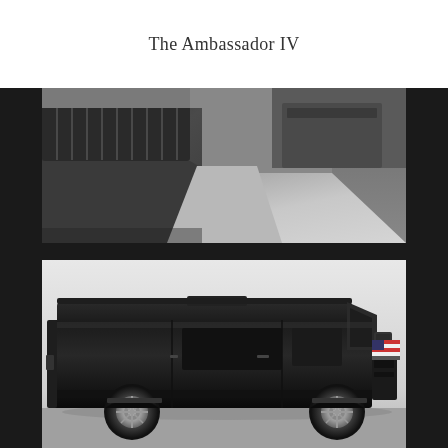The Ambassador IV
[Figure (photo): Black and white interior photo of a luxury van showing dark leather seating and padded walls viewed from above/rear angle]
[Figure (photo): Black and white exterior side view photo of a large black Mercedes-Sprinter style luxury van/limo conversion vehicle parked in a white studio with an American flag visible in the background]